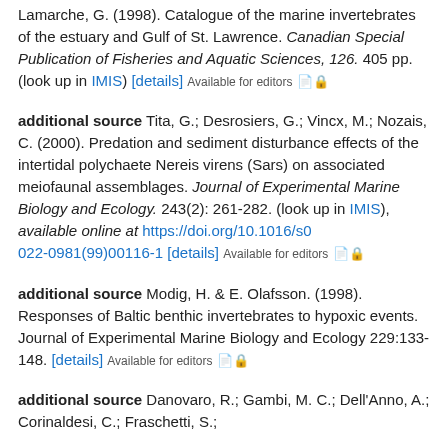Lamarche, G. (1998). Catalogue of the marine invertebrates of the estuary and Gulf of St. Lawrence. Canadian Special Publication of Fisheries and Aquatic Sciences, 126. 405 pp. (look up in IMIS) [details] Available for editors 🔒
additional source Tita, G.; Desrosiers, G.; Vincx, M.; Nozais, C. (2000). Predation and sediment disturbance effects of the intertidal polychaete Nereis virens (Sars) on associated meiofaunal assemblages. Journal of Experimental Marine Biology and Ecology. 243(2): 261-282. (look up in IMIS), available online at https://doi.org/10.1016/s0022-0981(99)00116-1 [details] Available for editors 🔒
additional source Modig, H. & E. Olafsson. (1998). Responses of Baltic benthic invertebrates to hypoxic events. Journal of Experimental Marine Biology and Ecology 229:133-148. [details] Available for editors 🔒
additional source Danovaro, R.; Gambi, M. C.; Dell'Anno, A.; Corinaldesi, C.; Fraschetti, S.;